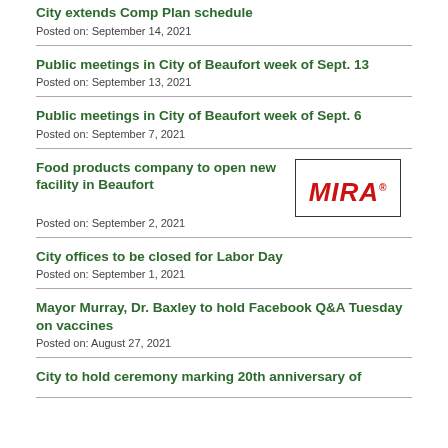City extends Comp Plan schedule
Posted on: September 14, 2021
Public meetings in City of Beaufort week of Sept. 13
Posted on: September 13, 2021
Public meetings in City of Beaufort week of Sept. 6
Posted on: September 7, 2021
Food products company to open new facility in Beaufort
[Figure (logo): MIRA logo in red italic bold text on white background with black border]
Posted on: September 2, 2021
City offices to be closed for Labor Day
Posted on: September 1, 2021
Mayor Murray, Dr. Baxley to hold Facebook Q&A Tuesday on vaccines
Posted on: August 27, 2021
City to hold ceremony marking 20th anniversary of